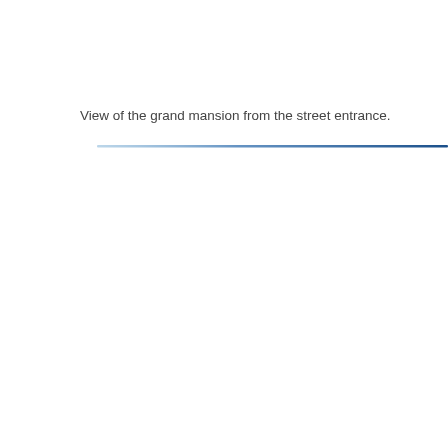View of the grand mansion from the street entrance.
[Figure (other): Decorative horizontal gradient divider line, transitioning from light blue on the left to dark blue on the right.]